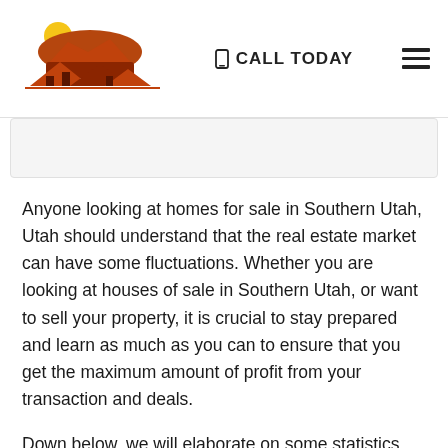[Figure (logo): Real estate company logo with house rooflines and sunset/rock formation in orange and brown tones]
CALL TODAY
Anyone looking at homes for sale in Southern Utah, Utah should understand that the real estate market can have some fluctuations. Whether you are looking at houses of sale in Southern Utah, or want to sell your property, it is crucial to stay prepared and learn as much as you can to ensure that you get the maximum amount of profit from your transaction and deals.
Down below, we will elaborate on some statistics related to the Southern Utah real estate market. This should help you get some insight into the real